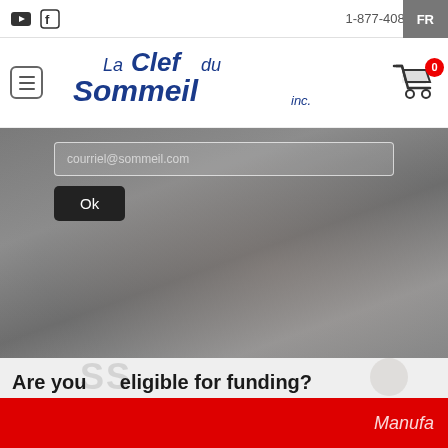1-877-408-3838  FR
[Figure (logo): La Clef du Sommeil inc. company logo in blue italic script font]
[Figure (screenshot): Hero image with grayscale background showing person, search box overlay with 'Ok' button]
Are you eligible for funding?
Manufa